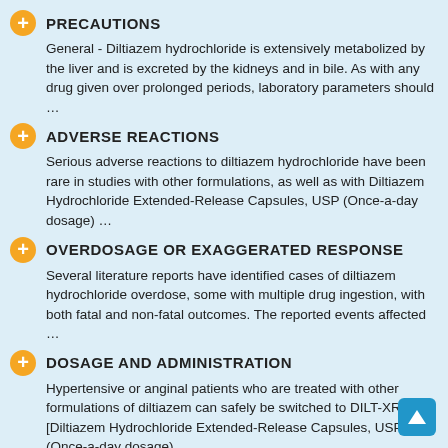PRECAUTIONS
General - Diltiazem hydrochloride is extensively metabolized by the liver and is excreted by the kidneys and in bile. As with any drug given over prolonged periods, laboratory parameters should …
ADVERSE REACTIONS
Serious adverse reactions to diltiazem hydrochloride have been rare in studies with other formulations, as well as with Diltiazem Hydrochloride Extended-Release Capsules, USP (Once-a-day dosage) …
OVERDOSAGE OR EXAGGERATED RESPONSE
Several literature reports have identified cases of diltiazem hydrochloride overdose, some with multiple drug ingestion, with both fatal and non-fatal outcomes. The reported events affected …
DOSAGE AND ADMINISTRATION
Hypertensive or anginal patients who are treated with other formulations of diltiazem can safely be switched to DILT-XR [Diltiazem Hydrochloride Extended-Release Capsules, USP (Once-a-day dosage) …